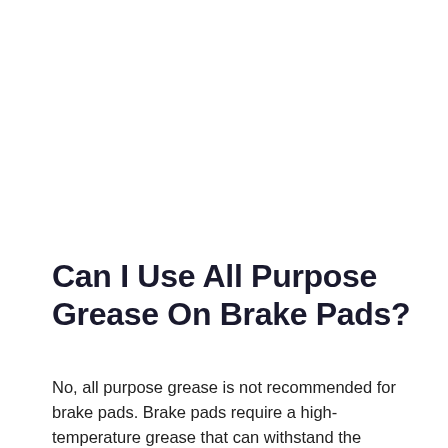Can I Use All Purpose Grease On Brake Pads?
No, all purpose grease is not recommended for brake pads. Brake pads require a high-temperature grease that can withstand the extreme heat